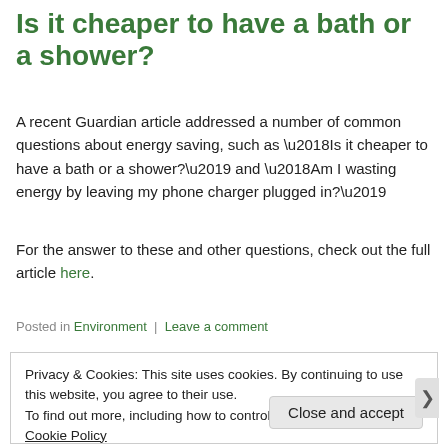Is it cheaper to have a bath or a shower?
A recent Guardian article addressed a number of common questions about energy saving, such as ‘Is it cheaper to have a bath or a shower?’ and ‘Am I wasting energy by leaving my phone charger plugged in?’
For the answer to these and other questions, check out the full article here.
Posted in Environment | Leave a comment
Privacy & Cookies: This site uses cookies. By continuing to use this website, you agree to their use.
To find out more, including how to control cookies, see here: Cookie Policy